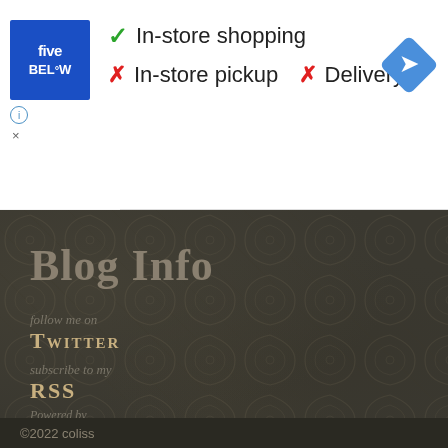[Figure (logo): Five Below store logo — white text on blue square background]
✓ In-store shopping
✗ In-store pickup  ✗ Delivery
[Figure (illustration): Blue diamond navigation arrow icon]
Blog Info
follow me on
TWITTER
subscribe to my
RSS
Powered by
WORDPRESS
©2022 coliss